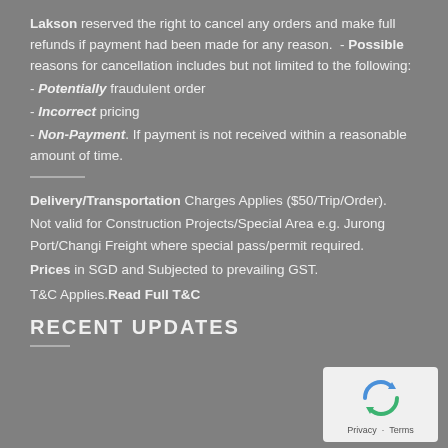Lakson reserved the right to cancel any orders and make full refunds if payment had been made for any reason. - Possible reasons for cancellation includes but not limited to the following:
- Potentially fraudulent order
- Incorrect pricing
- Non-Payment. If payment is not received within a reasonable amount of time.
Delivery/Transportation Charges Applies ($50/Trip/Order). Not valid for Construction Projects/Special Area e.g. Jurong Port/Changi Freight where special pass/permit required.
Prices in SGD and Subjected to prevailing GST.
T&C Applies. Read Full T&C
RECENT UPDATES
[Figure (logo): reCAPTCHA logo with Privacy and Terms links]